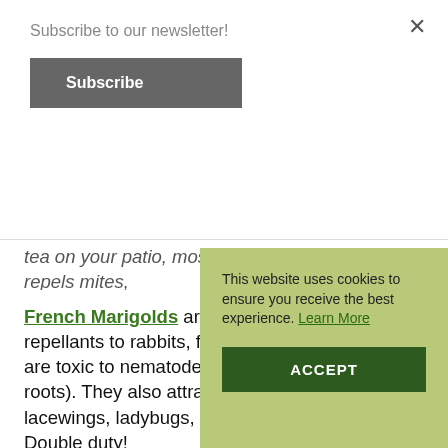Subscribe to our newsletter!
Subscribe
tea on your patio, mosquito free. Catnip also repels mites, ticks, spiders, termites, cockroaches, Colorado potato beetles, flea beetles, deer, rabbits, and squirrels.
French Marigolds are known as effective repellants to rabbits, flies, and mosquitoes, and are toxic to nematodes (soil pests that feed on roots). They also attract beneficial insects like lacewings, ladybugs, and parasitic wasps. Double duty!
Lavender's fragrance is a heady and intoxicating delight, unless you are a mosquito, and then it is a "keep away" sign. Grow this dr... areas to enjo... also attracts... hover flies.
Lemon Balm
herbal medicine. In full sun or part shade, this perennial
This website uses cookies to ensure you receive the best experience. Learn More
ACCEPT